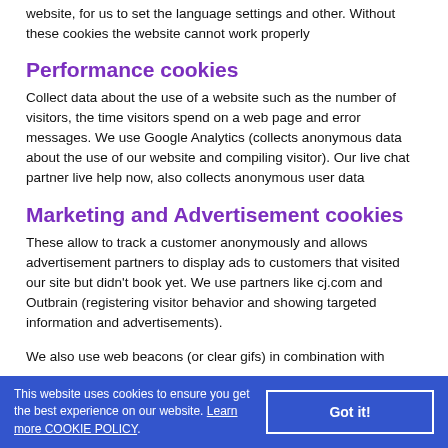website, for us to set the language settings and other. Without these cookies the website cannot work properly
Performance cookies
Collect data about the use of a website such as the number of visitors, the time visitors spend on a web page and error messages. We use Google Analytics (collects anonymous data about the use of our website and compiling visitor). Our live chat partner live help now, also collects anonymous user data
Marketing and Advertisement cookies
These allow to track a customer anonymously and allows advertisement partners to display ads to customers that visited our site but didn't book yet. We use partners like cj.com and Outbrain (registering visitor behavior and showing targeted information and advertisements).
We also use web beacons (or clear gifs) in combination with
This website uses cookies to ensure you get the best experience on our website. Learn more COOKIE POLICY.